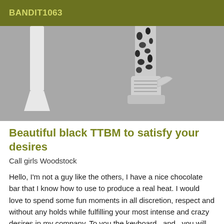BANDIT1063
[Figure (photo): Black and white photo showing legs/feet with patterned stockings and sneaker shoes, hanging or jumping, against a gray background]
Beautiful black TTBM to satisfy your desires
Call girls Woodstock
Hello, I'm not a guy like the others, I have a nice chocolate bar that I know how to use to produce a real heat. I would love to spend some fun moments in all discretion, respect and without any holds while fulfilling your most intense and crazy desires in my company. To you the keyboard...and...you will not be disappointed...